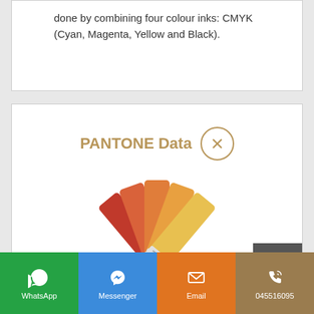done by combining four colour inks: CMYK (Cyan, Magenta, Yellow and Black).
[Figure (infographic): PANTONE Data panel with a circle-X icon and colorful paint swatch fan illustration in red, orange, and yellow tones]
WhatsApp | Messenger | Email | 045516095